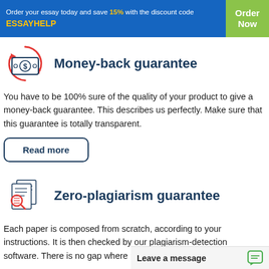Order your essay today and save 15% with the discount code ESSAYHELP | Order Now
[Figure (illustration): Money-back guarantee icon: a bill with dollar sign and circular red arrows]
Money-back guarantee
You have to be 100% sure of the quality of your product to give a money-back guarantee. This describes us perfectly. Make sure that this guarantee is totally transparent.
Read more
[Figure (illustration): Zero-plagiarism guarantee icon: document pages with a magnifying glass and lines]
Zero-plagiarism guarantee
Each paper is composed from scratch, according to your instructions. It is then checked by our plagiarism-detection software. There is no gap where plagiarism could
Leave a message